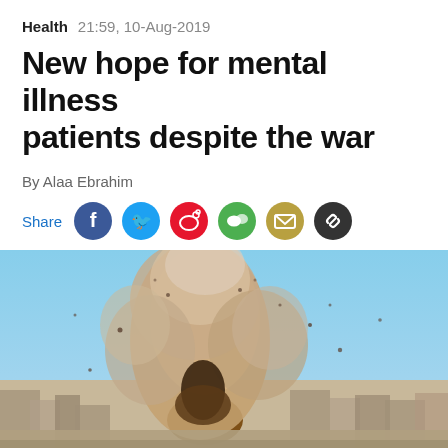Health  21:59, 10-Aug-2019
New hope for mental illness patients despite the war
By Alaa Ebrahim
Share
[Figure (photo): Aerial view of a war-torn city with a large explosion producing a tall column of dust and smoke rising over destroyed buildings and rubble]